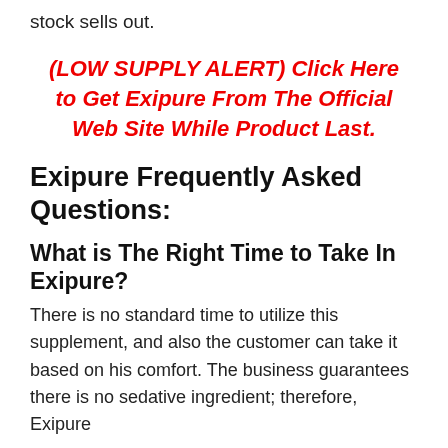stock sells out.
(LOW SUPPLY ALERT) Click Here to Get Exipure From The Official Web Site While Product Last.
Exipure Frequently Asked Questions:
What is The Right Time to Take In Exipure?
There is no standard time to utilize this supplement, and also the customer can take it based on his comfort. The business guarantees there is no sedative ingredient; therefore, Exipure does not...